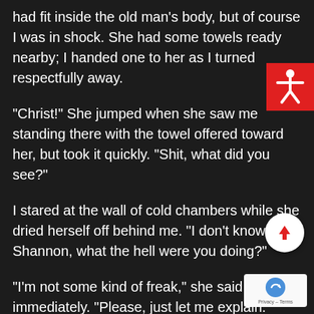had fit inside the old man's body, but of course I was in shock. She had some towels ready nearby; I handed one to her as I turned respectfully away.
“Christ!” She jumped when she saw me standing there with the towel offered toward her, but took it quickly. “Shit, what did you see?”
I stared at the wall of cold chambers while she dried herself off behind me. “I don’t know, Shannon, what the hell were you doing?”
“I’m not some kind of freak,” she said immediately. “Please, just let me explain.”
[Figure (other): Red square accessibility icon with white stick figure person with arms outstretched]
[Figure (other): White circular scroll-to-top button with red upward arrow]
[Figure (other): Google reCAPTCHA badge with Privacy - Terms text]